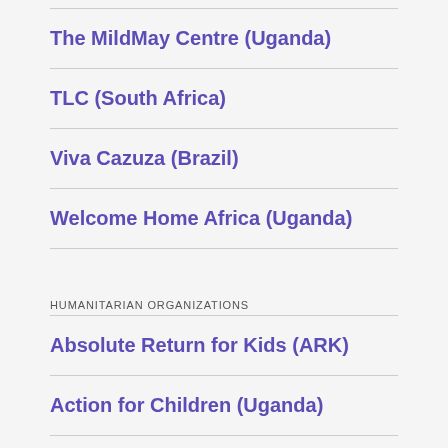The MildMay Centre (Uganda)
TLC (South Africa)
Viva Cazuza (Brazil)
Welcome Home Africa (Uganda)
HUMANITARIAN ORGANIZATIONS
Absolute Return for Kids (ARK)
Action for Children (Uganda)
AHOPE Community Outreach